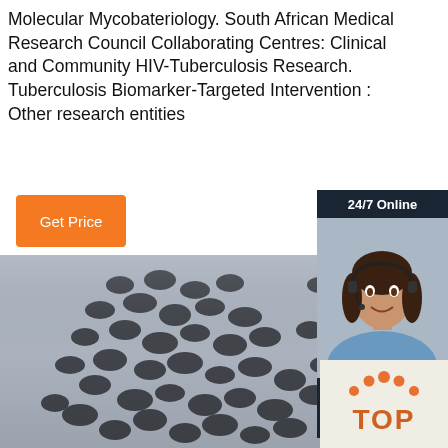Molecular Mycobateriology. South African Medical Research Council Collaborating Centres: Clinical and Community HIV-Tuberculosis Research. Tuberculosis Biomarker-Targeted Intervention : Other research entities
[Figure (other): Orange 'Get Price' button]
[Figure (other): Dark sidebar with '24/7 Online' label, customer service agent photo with headset, 'Click here for free chat!' text, and orange QUOTATION button]
[Figure (photo): Close-up photograph of black/dark grey seeds (resembling lentils or small seeds) piled together on a light surface]
[Figure (logo): TOP logo with orange dots/circles arranged in an arc above the word TOP in orange text]